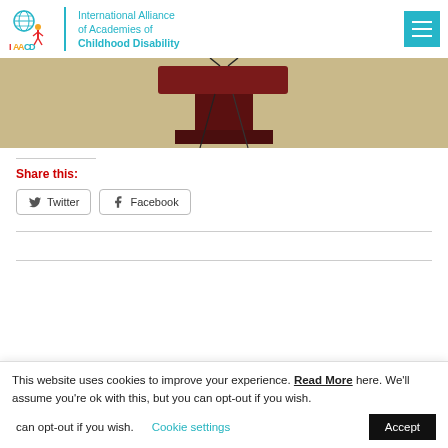International Alliance of Academies of Childhood Disability
[Figure (photo): A podium/lectern with a dark red/maroon top, cables, against a light beige/cream patterned background]
Share this:
Twitter
Facebook
This website uses cookies to improve your experience. Read More here. We'll assume you're ok with this, but you can opt-out if you wish.
Cookie settings
Accept